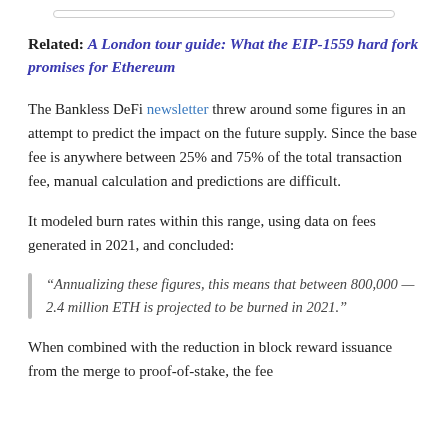Related: A London tour guide: What the EIP-1559 hard fork promises for Ethereum
The Bankless DeFi newsletter threw around some figures in an attempt to predict the impact on the future supply. Since the base fee is anywhere between 25% and 75% of the total transaction fee, manual calculation and predictions are difficult.
It modeled burn rates within this range, using data on fees generated in 2021, and concluded:
“Annualizing these figures, this means that between 800,000 — 2.4 million ETH is projected to be burned in 2021.”
When combined with the reduction in block reward issuance from the merge to proof-of-stake, the fee